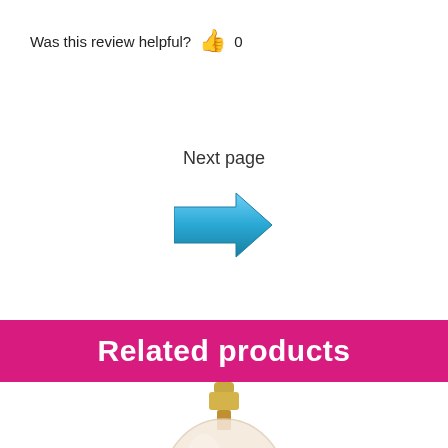Was this review helpful? 👍 0
Next page
[Figure (illustration): Blue right-pointing arrow button]
Related products
[Figure (photo): Perfume bottle, round shape with gold cap, light pink/nude tinted glass, M. Micallef style label]